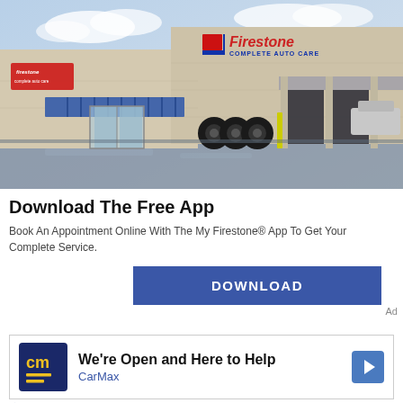[Figure (photo): Exterior photo of a Firestone Complete Auto Care store with beige brick building, blue striped awnings, service bays, and blue sky with clouds]
Download The Free App
Book An Appointment Online With The My Firestone® App To Get Your Complete Service.
DOWNLOAD
Ad
[Figure (infographic): CarMax ad with cm logo, text 'We're Open and Here to Help', CarMax brand name, arrow icon, play and close controls]